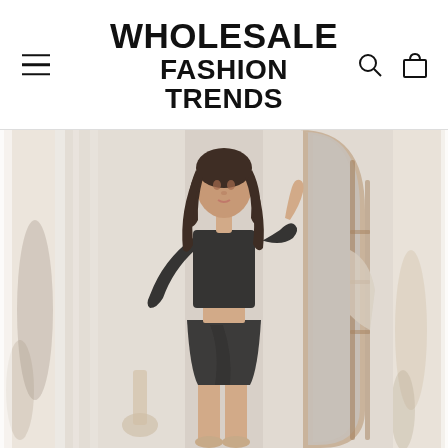WHOLESALE FASHION TRENDS
[Figure (photo): Fashion e-commerce website screenshot showing a model wearing a black long-sleeve crop top and black wrap mini skirt, standing in front of a mirror. Two partially visible side images flank the central product photo. Website header shows 'WHOLESALE FASHION TRENDS' logo with menu, search, and cart icons.]